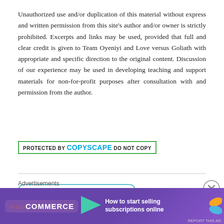Unauthorized use and/or duplication of this material without express and written permission from this site's author and/or owner is strictly prohibited. Excerpts and links may be used, provided that full and clear credit is given to Team Oyeniyi and Love versus Goliath with appropriate and specific direction to the original content. Discussion of our experience may be used in developing teaching and support materials for non-for-profit purposes after consultation with and permission from the author.
[Figure (other): Copyscape badge: PROTECTED BY COPYSCAPE DO NOT COPY with green border]
[Figure (infographic): Weight loss progress widget showing '40 lbs lost' in a teal-bordered rounded box]
[Figure (screenshot): WooCommerce advertisement banner: purple background with arrow logo and text 'How to start selling subscriptions online']